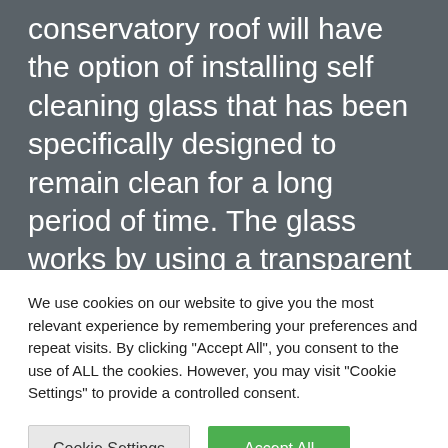conservatory roof will have the option of installing self cleaning glass that has been specifically designed to remain clean for a long period of time. The glass works by using a transparent coating on the outside. Once exposed to UV rays, dirt gets broken down and washed
We use cookies on our website to give you the most relevant experience by remembering your preferences and repeat visits. By clicking "Accept All", you consent to the use of ALL the cookies. However, you may visit "Cookie Settings" to provide a controlled consent.